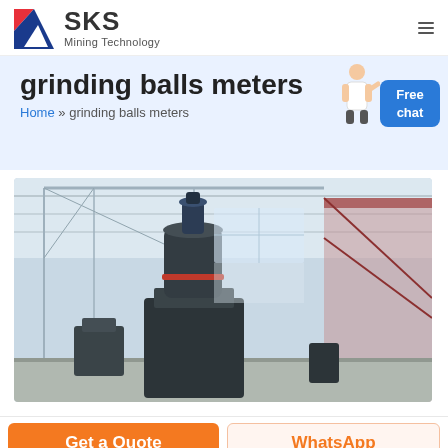[Figure (logo): SKS Mining Technology logo with red and blue geometric icon on left, bold SKS text and 'Mining Technology' subtitle on right]
grinding balls meters
Home » grinding balls meters
[Figure (photo): Industrial grinding/milling machine inside a large warehouse/factory with steel roof structure. The machine is tall, cylindrical, dark grey/black in color, inside a facility with high ceiling and red-trimmed steel framework visible in background.]
Get a Quote
WhatsApp